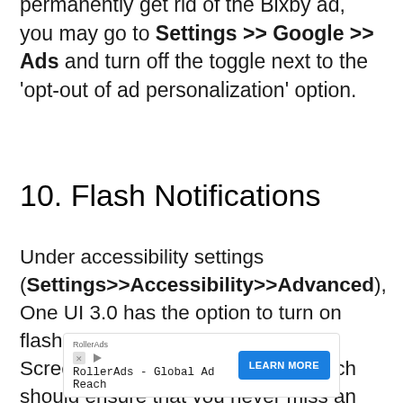permanently get rid of the Bixby ad, you may go to Settings >> Google >> Ads and turn off the toggle next to the ‘opt-out of ad personalization’ option.
10. Flash Notifications
Under accessibility settings (Settings>>Accessibility>>Advanced), One UI 3.0 has the option to turn on flash notifications. You can turn on Screen flash and camera flash, which should ensure that you never miss an important
[Figure (other): RollerAds advertisement banner with logo, tagline 'RollerAds - Global Ad Reach', and a blue 'LEARN MORE' button]